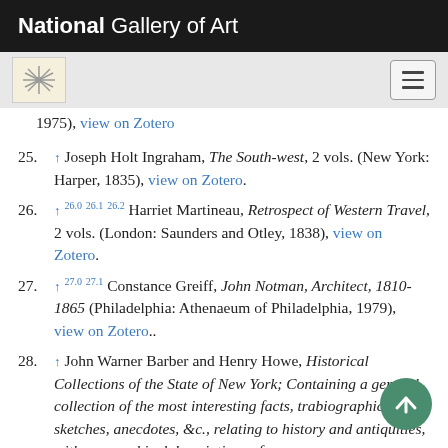National Gallery of Art
1975), view on Zotero
25. ↑ Joseph Holt Ingraham, The South-west, 2 vols. (New York: Harper, 1835), view on Zotero.
26. ↑ 26.0 26.1 26.2 Harriet Martineau, Retrospect of Western Travel, 2 vols. (London: Saunders and Otley, 1838), view on Zotero.
27. ↑ 27.0 27.1 Constance Greiff, John Notman, Architect, 1810-1865 (Philadelphia: Athenaeum of Philadelphia, 1979), view on Zotero..
28. ↑ John Warner Barber and Henry Howe, Historical Collections of the State of New York; Containing a general collection of the most interesting facts, tra... biographical sketches, anecdotes, &c., relating to history and antiquities, with geographical descriptions of